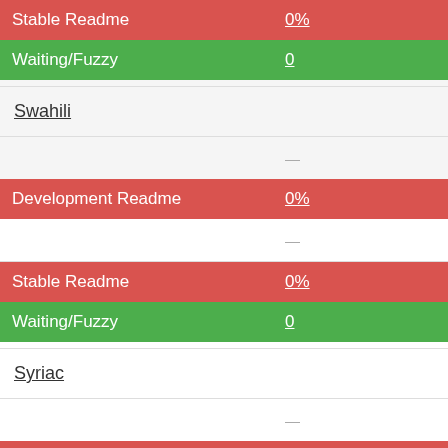| Label | Value |
| --- | --- |
| Stable Readme | 0% |
| Waiting/Fuzzy | 0 |
| Swahili |  |
|  | — |
| Development Readme | 0% |
|  | — |
| Stable Readme | 0% |
| Waiting/Fuzzy | 0 |
| Syriac |  |
|  | — |
| Development Readme | 0% |
|  | — |